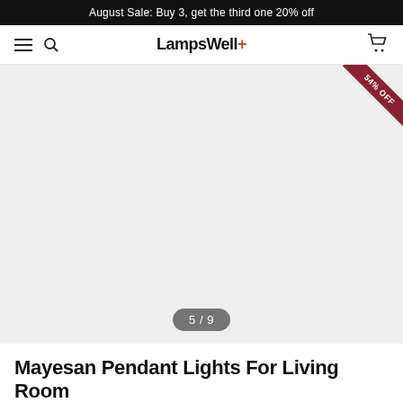August Sale: Buy 3, get the third one 20% off
[Figure (logo): LampsWell+ logo with navigation bar including hamburger menu, search icon, and cart icon]
[Figure (photo): Product image area with light gray background showing image 5 of 9, with a 54% OFF discount badge in the top right corner]
Mayesan Pendant Lights For Living Room